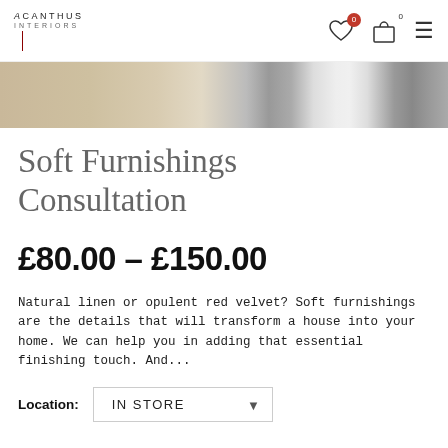Acanthus Interiors
[Figure (photo): Cropped product image showing soft furnishing fabrics including natural linen with animal print pattern]
Soft Furnishings Consultation
£80.00 – £150.00
Natural linen or opulent red velvet? Soft furnishings are the details that will transform a house into your home. We can help you in adding that essential finishing touch. And...
Location: IN STORE
£80.00